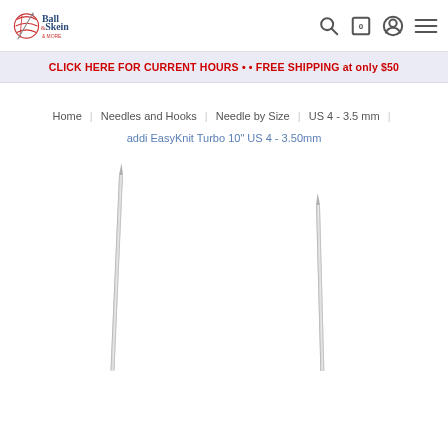Ball & Skein & More — navigation header with search, cart (0), account, and menu icons
CLICK HERE FOR CURRENT HOURS • • FREE SHIPPING at only $50
Home | Needles and Hooks | Needle by Size | US 4 - 3.5 mm | addi EasyKnit Turbo 10" US 4 - 3.50mm
[Figure (photo): Two long metal knitting needles shown vertically, tapering to sharp tips at the top, on a white background.]